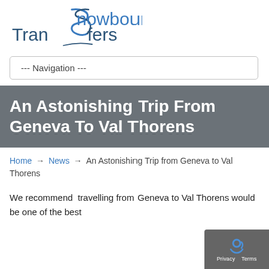[Figure (logo): Snowbound Transfers logo with stylized S in blue/teal and dark blue wordmark text reading 'Snowbound Transfers']
--- Navigation ---
An Astonishing Trip From Geneva To Val Thorens
Home → News → An Astonishing Trip from Geneva to Val Thorens
We recommend  travelling from Geneva to Val Thorens would be one of the best